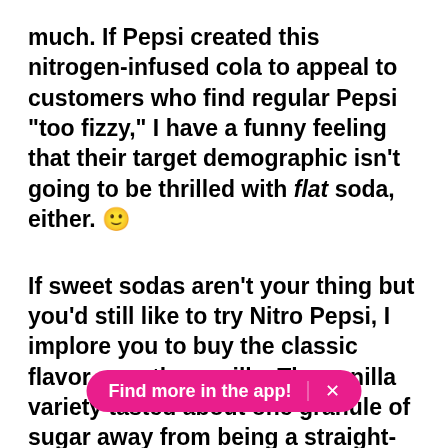much. If Pepsi created this nitrogen-infused cola to appeal to customers who find regular Pepsi "too fizzy," I have a funny feeling that their target demographic isn't going to be thrilled with flat soda, either. 🙂
If sweet sodas aren't your thing but you'd still like to try Nitro Pepsi, I implore you to buy the classic flavor over the vanilla. The vanilla variety tasted about one granule of sugar away from being a straight-up milkshake, so the regular was far more palatable in comparison. It was still super the